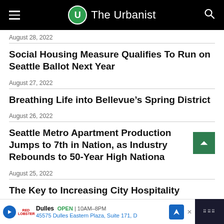The Urbanist
August 28, 2022
Social Housing Measure Qualifies To Run on Seattle Ballot Next Year
August 27, 2022
Breathing Life into Bellevue’s Spring District
August 26, 2022
Seattle Metro Apartment Production Jumps to 7th in Nation, as Industry Rebounds to 50-Year High Nationally
August 25, 2022
The Key to Increasing City Hospitality
Dulles  OPEN | 10AM–8PM  45575 Dulles Eastern Plaza, Suite 171, D